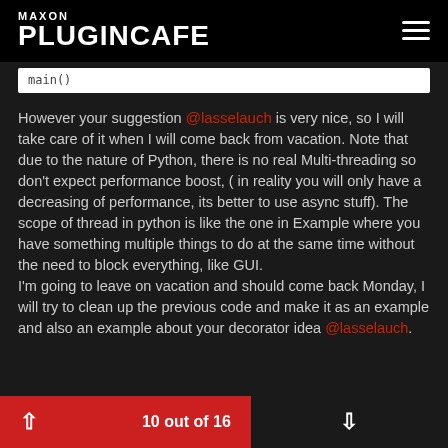MAXON PLUGINCAFE
main()
However your suggestion @lasselauch is very nice, so I will take care of it when I will come back from vacation. Note that due to the nature of Python, there is no real Multi-threading so don't expect performance boost, ( in reality you will only have a decreasing of performance, its better to use async stuff). The scope of thread in python is like the one in Example where you have something multiple things to do at the same time without the need to block everything, like GUI.
I'm going to leave on vacation and should come back Monday, I will try to clean up the previous code and make it as an example and also an example about your decorator idea @lasselauch.
10 out of 16